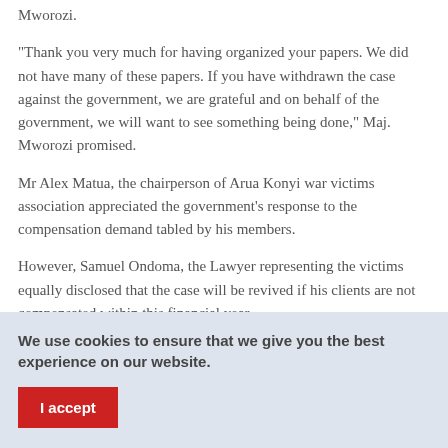Mworozi.
"Thank you very much for having organized your papers. We did not have many of these papers. If you have withdrawn the case against the government, we are grateful and on behalf of the government, we will want to see something being done," Maj. Mworozi promised.
Mr Alex Matua, the chairperson of Arua Konyi war victims association appreciated the government’s response to the compensation demand tabled by his members.
However, Samuel Ondoma, the Lawyer representing the victims equally disclosed that the case will be revived if his clients are not compensated within this financial year.
We use cookies to ensure that we give you the best experience on our website.
I accept